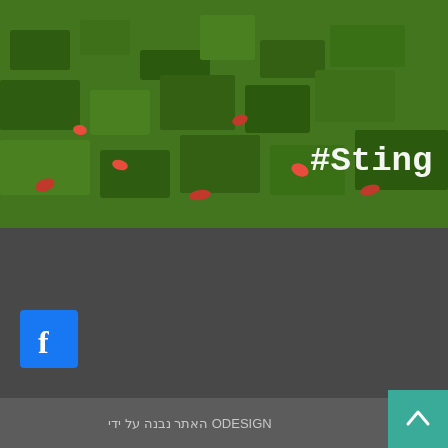[Figure (photo): Photo of grass/ground with red flowers/leaves and #Sting text overlay in white monospace font]
צפו בדף הפייסבוק שלנו
[Figure (logo): Facebook icon button - blue square with white letter f]
ODESIGN האתר נבנה על ידי